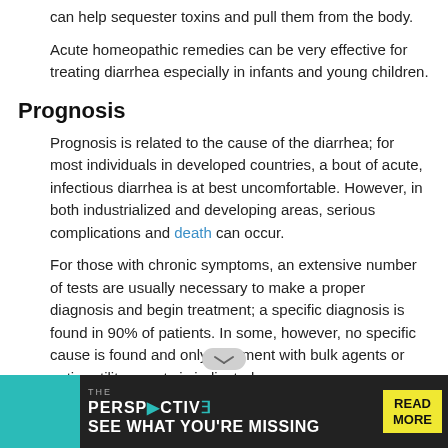can help sequester toxins and pull them from the body.
Acute homeopathic remedies can be very effective for treating diarrhea especially in infants and young children.
Prognosis
Prognosis is related to the cause of the diarrhea; for most individuals in developed countries, a bout of acute, infectious diarrhea is at best uncomfortable. However, in both industrialized and developing areas, serious complications and death can occur.
For those with chronic symptoms, an extensive number of tests are usually necessary to make a proper diagnosis and begin treatment; a specific diagnosis is found in 90% of patients. In some, however, no specific cause is found and only treatment with bulk agents or anti-motility agents is indicated.
Prevention
Proper hygiene and food handling techniques will prevent many cases. Traveler's diarrhea can be avoided by use of Pepto-Bismol and/or antibiotics, if necessary. The most important action is to prevent the complications of dehydration.
[Figure (infographic): Advertisement banner: THE PERSPECTIVE - SEE WHAT YOU'RE MISSING - READ MORE with teal and dark background]